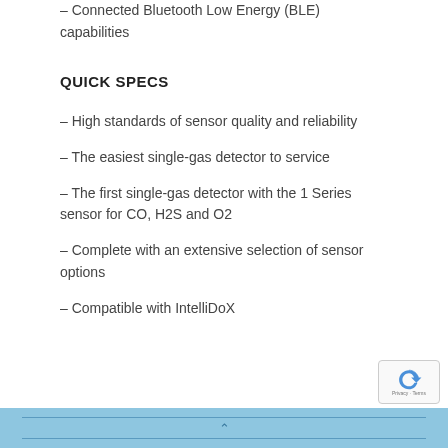– Connected Bluetooth Low Energy (BLE) capabilities
QUICK SPECS
– High standards of sensor quality and reliability
– The easiest single-gas detector to service
– The first single-gas detector with the 1 Series sensor for CO, H2S and O2
– Complete with an extensive selection of sensor options
– Compatible with IntelliDoX